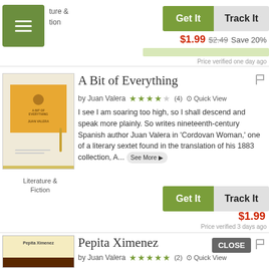[Figure (screenshot): Mobile app navigation hamburger menu button in olive/green color]
Literature & Fiction
Get It   Track It
$1.99  $2.49  Save 20%
Price verified one day ago
A Bit of Everything
by Juan Valera  ★★★½ (4)  Quick View
I see I am soaring too high, so I shall descend and speak more plainly. So writes nineteenth-century Spanish author Juan Valera in 'Cordovan Woman,' one of a literary sextet found in the translation of his 1883 collection, A...  See More ▶
Get It   Track It
$1.99
Price verified 3 days ago
Pepita Ximenez
CLOSE
by Juan Valera  ★★★★½ (2)  Quick View
This book was converted from its physical edition to the digital format by a community of volunteers. You may find it for fr...